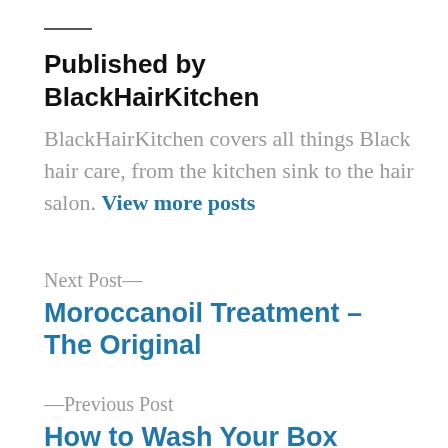Published by BlackHairKitchen
BlackHairKitchen covers all things Black hair care, from the kitchen sink to the hair salon. View more posts
Next Post—
Moroccanoil Treatment – The Original
—Previous Post
How to Wash Your Box Braids